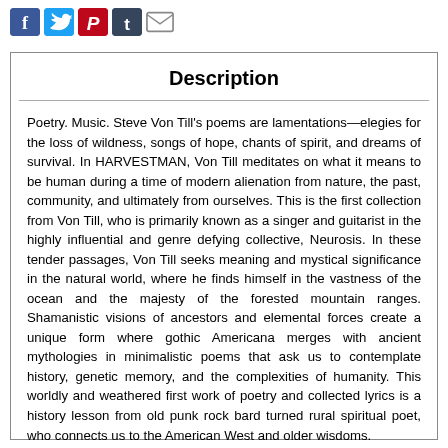[Figure (other): Social sharing icons: Facebook (blue f), Twitter (blue bird), Pinterest (red P), Tumblr (dark t), Email (envelope outline)]
Description
Poetry. Music. Steve Von Till's poems are lamentations—elegies for the loss of wildness, songs of hope, chants of spirit, and dreams of survival. In HARVESTMAN, Von Till meditates on what it means to be human during a time of modern alienation from nature, the past, community, and ultimately from ourselves. This is the first collection from Von Till, who is primarily known as a singer and guitarist in the highly influential and genre defying collective, Neurosis. In these tender passages, Von Till seeks meaning and mystical significance in the natural world, where he finds himself in the vastness of the ocean and the majesty of the forested mountain ranges. Shamanistic visions of ancestors and elemental forces create a unique form where gothic Americana merges with ancient mythologies in minimalistic poems that ask us to contemplate history, genetic memory, and the complexities of humanity. This worldly and weathered first work of poetry and collected lyrics is a history lesson from old punk rock bard turned rural spiritual poet, who connects us to the American West and older wisdoms.